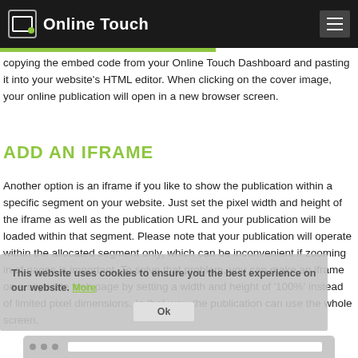Online Touch
copying the embed code from your Online Touch Dashboard and pasting it into your website's HTML editor. When clicking on the cover image, your online publication will open in a new browser screen.
ADD AN IFRAME
Another option is an iframe if you like to show the publication within a specific segment on your website. Just set the pixel width and height of the iframe as well as the publication URL and your publication will be loaded within that segment. Please note that your publication will operate within the allocated segment only, which can be inconvenient if zooming in of pages is important. To solve that problem, you can make an iframe on a separate web page by setting a width and height of '100%' instead of limited pixel dimensions. In that way, the publication can use the whole screen.
[Figure (screenshot): Cookie consent overlay and browser mockup at the bottom of the page]